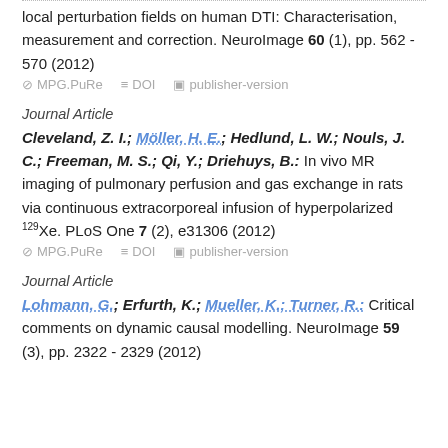local perturbation fields on human DTI: Characterisation, measurement and correction. NeuroImage 60 (1), pp. 562 - 570 (2012)
⊘ MPG.PuRe  ≡ DOI  □ publisher-version
Journal Article
Cleveland, Z. I.; Möller, H. E.; Hedlund, L. W.; Nouls, J. C.; Freeman, M. S.; Qi, Y.; Driehuys, B.: In vivo MR imaging of pulmonary perfusion and gas exchange in rats via continuous extracorporeal infusion of hyperpolarized 129Xe. PLoS One 7 (2), e31306 (2012)
⊘ MPG.PuRe  ≡ DOI  □ publisher-version
Journal Article
Lohmann, G.; Erfurth, K.; Mueller, K.; Turner, R.: Critical comments on dynamic causal modelling. NeuroImage 59 (3), pp. 2322 - 2329 (2012)